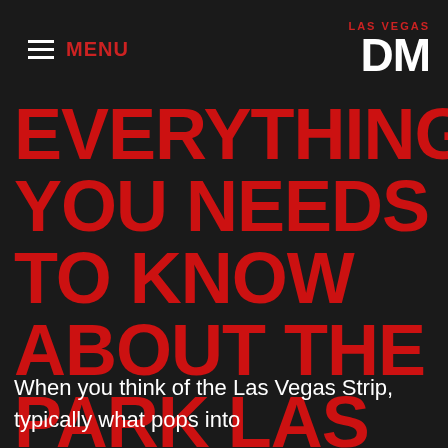Menu
LAS VEGAS DM
EVERYTHING YOU NEEDS TO KNOW ABOUT THE PARK LAS VEGAS
When you think of the Las Vegas Strip, typically what pops into